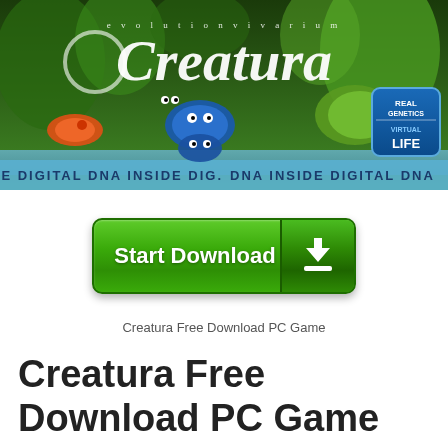[Figure (screenshot): Creatura game banner showing colorful alien creatures in a lush green environment with the Evolution Vivarium Creatura logo and 'Real Genetics Virtual Life' badge. Bottom has scrolling text 'DE DIGITAL DNA INSIDE DIG... DNA INSIDE DIGITAL DNA...']
[Figure (illustration): Green 'Start Download' button with download arrow icon on the right side]
Creatura Free Download PC Game
Creatura Free Download PC Game